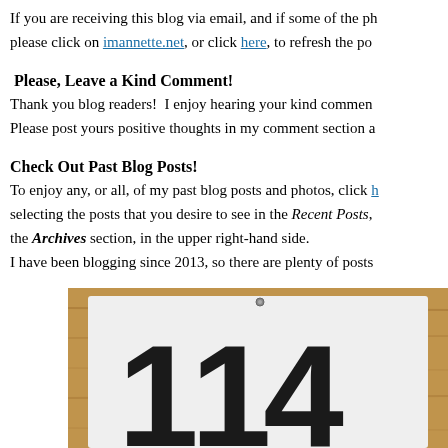If you are receiving this blog via email, and if some of the ph please click on imannette.net, or click here, to refresh the po
Please, Leave a Kind Comment!
Thank you blog readers!  I enjoy hearing your kind commen... Please post yours positive thoughts in my comment section a...
Check Out Past Blog Posts!
To enjoy any, or all, of my past blog posts and photos, click [here] selecting the posts that you desire to see in the Recent Posts, the Archives section, in the upper right-hand side. I have been blogging since 2013, so there are plenty of posts
[Figure (photo): A white race bib/jersey with large black number '114' printed on it, displayed on a wooden surface background]